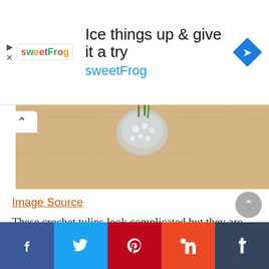[Figure (screenshot): Advertisement banner for sweetFrog frozen yogurt: headline 'Ice things up & give it a try', brand name 'sweetFrog' in blue, sweetFrog logo on left, blue navigation diamond icon on right]
[Figure (photo): Partial photo of a wooden surface with a glass vase containing pearl/crystal decorative elements, with an up-arrow expand button on the left]
Image Source
These crochet tulips look complicated but they are actually a beginner project. The shape of the crochet flower is simple, and then you need to use some extra DIY skills (glue, flower sticks) to complete the project.
[Figure (screenshot): Social media share buttons bar: Facebook (dark blue), Twitter (light blue), Pinterest (red), StumbleUpon (orange-red), Tumblr (dark blue-grey)]